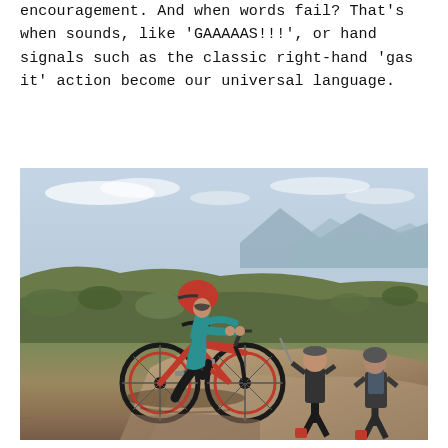encouragement. And when words fail? That's when sounds, like 'GAAAAAS!!!', or hand signals such as the classic right-hand 'gas it' action become our universal language.
[Figure (photo): A mountain biker in a teal jacket and red helmet performing a jump on a red mountain bike over rocky terrain, with two spectators watching in the background against a mountainous landscape.]